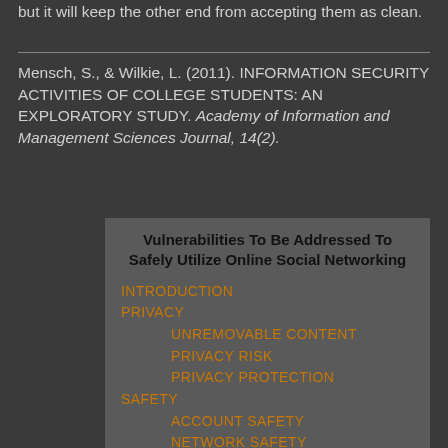but it will keep the other end from accepting them as clean.
Mensch, S., & Wilkie, L. (2011). INFORMATION SECURITY ACTIVITIES OF COLLEGE STUDENTS: AN EXPLORATORY STUDY. Academy of Information and Management Sciences Journal, 14(2).
[Figure (other): Table of contents box titled 'Vulnerabilities To Be Addressed To Safely Utilize Online Social Networking' with orange links: INTRODUCTION, PRIVACY, UNREMOVABLE CONTENT, PRIVACY RISK, PRIVACY PROTECTION, SAFETY, ACCOUNT SAFETY, NETWORK SAFETY, INTERACTION SAFETY, CONCLUSION]